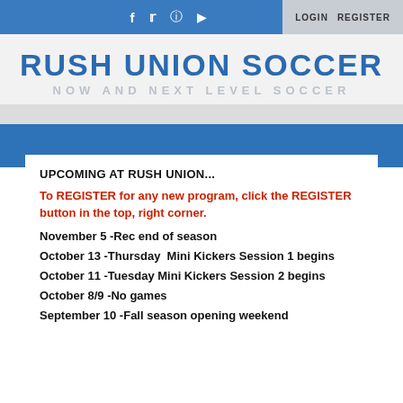f  y  [instagram]  [youtube]    LOGIN   REGISTER
RUSH UNION SOCCER
NOW AND NEXT LEVEL SOCCER
UPCOMING AT RUSH UNION...
To REGISTER for any new program, click the REGISTER button in the top, right corner.
November 5 -Rec end of season
October 13 -Thursday  Mini Kickers Session 1 begins
October 11 -Tuesday Mini Kickers Session 2 begins
October 8/9 -No games
September 10 -Fall season opening weekend